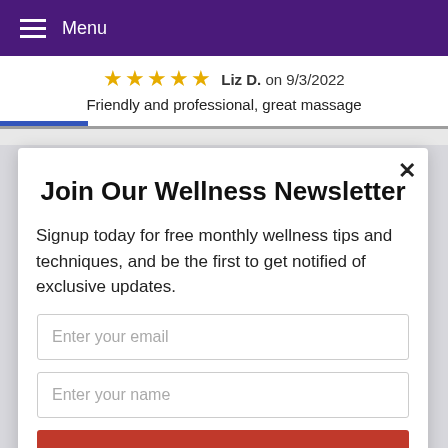Menu
★★★★★ Liz D. on 9/3/2022
Friendly and professional, great massage
Join Our Wellness Newsletter
Signup today for free monthly wellness tips and techniques, and be the first to get notified of exclusive updates.
Enter your email
Enter your name
Join Today!